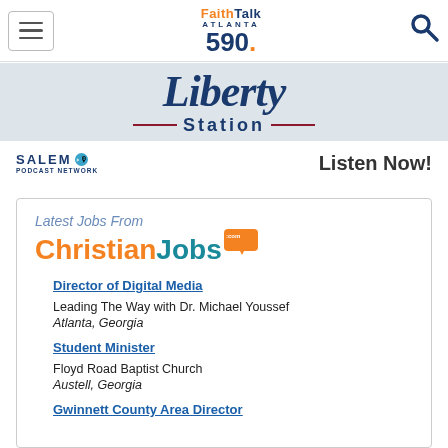FaithTalk Atlanta 590
[Figure (logo): Liberty Station banner logo with italic serif 'Liberty' text and 'Station' with decorative lines]
[Figure (logo): Salem Podcast Network logo]
Listen Now!
[Figure (logo): Latest Jobs From ChristianJobs.com logo]
Director of Digital Media
Leading The Way with Dr. Michael Youssef
Atlanta, Georgia
Student Minister
Floyd Road Baptist Church
Austell, Georgia
Gwinnett County Area Director (partial)